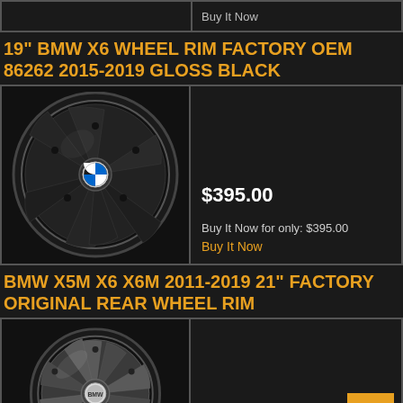Buy It Now
19" BMW X6 WHEEL RIM FACTORY OEM 86262 2015-2019 GLOSS BLACK
[Figure (photo): Black gloss BMW X6 wheel rim with BMW logo center cap and multi-spoke design]
$395.00
Buy It Now for only: $395.00
Buy It Now
BMW X5M X6 X6M 2011-2019 21" FACTORY ORIGINAL REAR WHEEL RIM
[Figure (photo): Gray/silver BMW factory original rear wheel rim with twin-spoke Y-style design and red brake caliper visible]